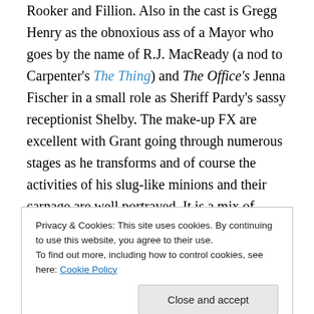Rooker and Fillion. Also in the cast is Gregg Henry as the obnoxious ass of a Mayor who goes by the name of R.J. MacReady (a nod to Carpenter's The Thing) and The Office's Jenna Fischer in a small role as Sheriff Pardy's sassy receptionist Shelby. The make-up FX are excellent with Grant going through numerous stages as he transforms and of course the activities of his slug-like minions and their carnage are well portrayed. It is a mix of practical and CGI, but it appears mostly practical with some very well done CGI in support, the way it should be. The production value is high on this modestly budgeted
Privacy & Cookies: This site uses cookies. By continuing to use this website, you agree to their use.
To find out more, including how to control cookies, see here: Cookie Policy
[Close and accept button]
just a real fun, gory and very entertaining night at the